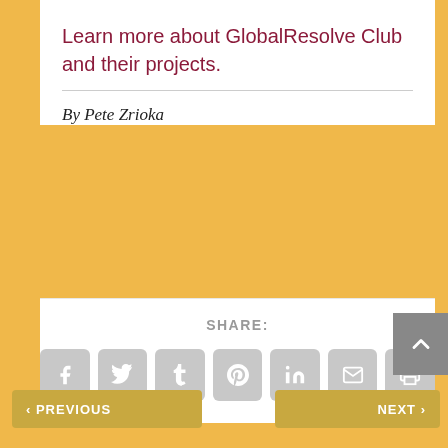Learn more about GlobalResolve Club and their projects.
By Pete Zrioka
SHARE:
[Figure (other): Social share buttons: Facebook, Twitter, Tumblr, Pinterest, LinkedIn, Email, Print]
< PREVIOUS | NEXT > | Construction | Ants marching to a better